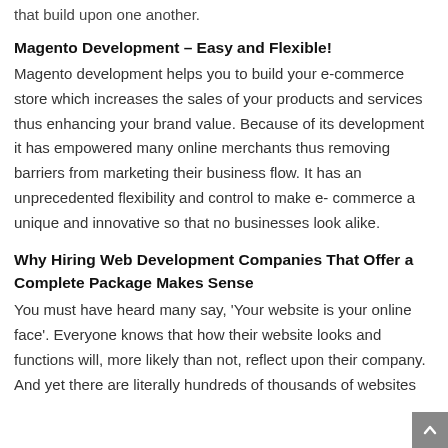that build upon one another.
Magento Development – Easy and Flexible!
Magento development helps you to build your e-commerce store which increases the sales of your products and services thus enhancing your brand value. Because of its development it has empowered many online merchants thus removing barriers from marketing their business flow. It has an unprecedented flexibility and control to make e- commerce a unique and innovative so that no businesses look alike.
Why Hiring Web Development Companies That Offer a Complete Package Makes Sense
You must have heard many say, 'Your website is your online face'. Everyone knows that how their website looks and functions will, more likely than not, reflect upon their company. And yet there are literally hundreds of thousands of websites